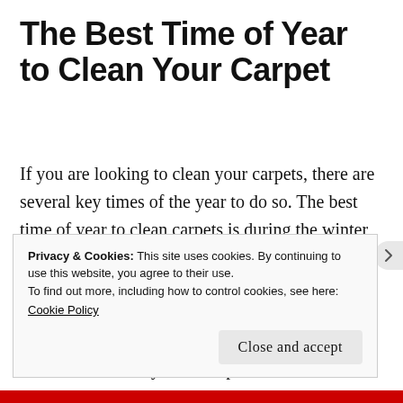The Best Time of Year to Clean Your Carpet
If you are looking to clean your carpets, there are several key times of the year to do so. The best time of year to clean carpets is during the winter, when the dirt and dust particles are at their lowest levels. This is because the cold temperatures cause the dirt to become compacted, making it easier to remove. In addition, using a vacuum cleaner on cold days will help to reduce
Privacy & Cookies: This site uses cookies. By continuing to use this website, you agree to their use.
To find out more, including how to control cookies, see here:
Cookie Policy
Close and accept